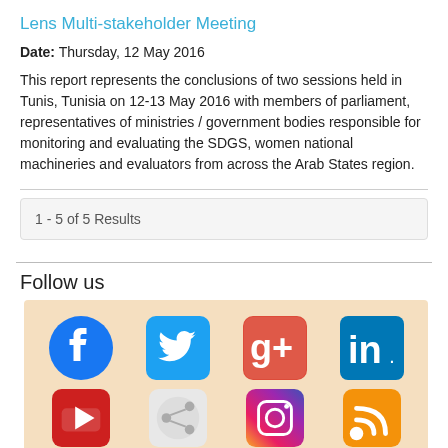Lens Multi-stakeholder Meeting
Date: Thursday, 12 May 2016
This report represents the conclusions of two sessions held in Tunis, Tunisia on 12-13 May 2016 with members of parliament, representatives of ministries / government bodies responsible for monitoring and evaluating the SDGS, women national machineries and evaluators from across the Arab States region.
1 - 5 of 5 Results
Follow us
[Figure (infographic): Social media icons grid on a light orange/peach background: Facebook, Twitter, Google+, LinkedIn in top row; partial row below with YouTube, another icon, Instagram, RSS feed icons.]